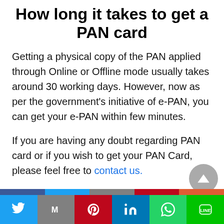How long it takes to get a PAN card
Getting a physical copy of the PAN applied through Online or Offline mode usually takes around 30 working days. However, now as per the government's initiative of e-PAN, you can get your e-PAN within few minutes.
If you are having any doubt regarding PAN card or if you wish to get your PAN Card, please feel free to contact us.
[Figure (other): Social share icons row (Facebook, Twitter, Gmail/share, Pinterest, orange share) partially visible at bottom of content area]
Social share bar with Twitter, Gmail, Pinterest, LinkedIn, WhatsApp, LINE icons